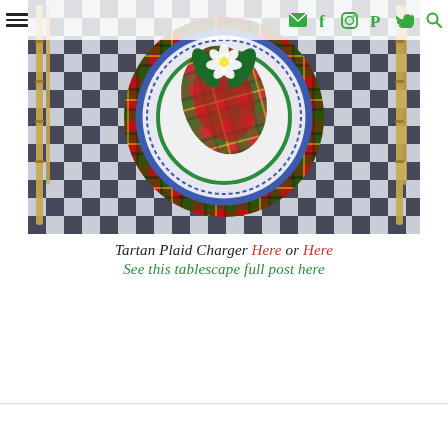☰  ✉ f ◻ P ✈ 🔍
[Figure (photo): Overhead view of a Christmas tablescape with a tartan plaid red charger plate, blue and white border dinner plate, green-rimmed inner plate, plaid folded napkin, white flower, on a black and white buffalo check tablecloth, with gold bamboo-style flatware on either side.]
Tartan Plaid Charger Here or Here
See this tablescape full post here